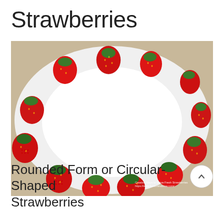Strawberries
[Figure (photo): Strawberries arranged in a circle/ring shape on a white plate, photographed from above. Red strawberries with green leaves placed around the rim of the plate forming a circular wreath pattern. Watermark text reads: Creative Ways to Serve Fresh Strawberries https://www.livelovandblow.com/]
Rounded Form or Circular-Shaped Strawberries